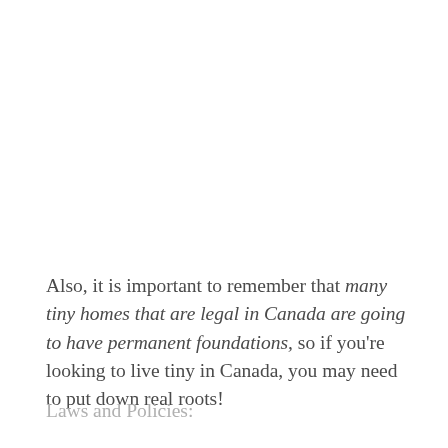Also, it is important to remember that many tiny homes that are legal in Canada are going to have permanent foundations, so if you're looking to live tiny in Canada, you may need to put down real roots!
Laws and Policies: